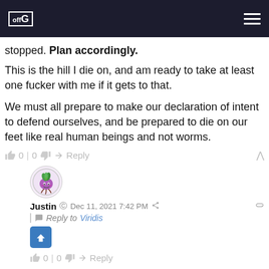offG [logo] [hamburger menu]
stopped. Plan accordingly.
This is the hill I die on, and am ready to take at least one fucker with me if it gets to that.
We must all prepare to make our declaration of intent to defend ourselves, and be prepared to die on our feet like real human beings and not worms.
👍 0 | 0 👎 ➜ Reply ∧
[Figure (illustration): Circular avatar with cartoon purple beet/turnip character on white background with decorative border]
Justin © Dec 11, 2021 7:42 PM 🔗  | 🗨 Reply to Viridis  [upvote button]  👍 0 | 0 👎 ➜ Reply